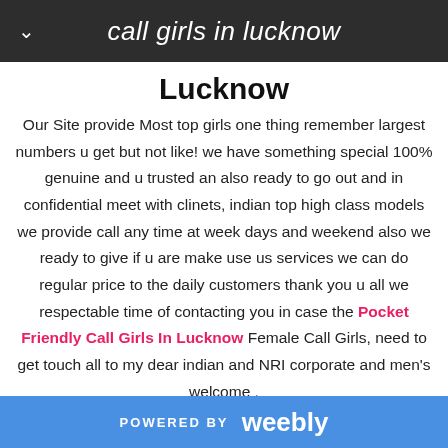call girls in lucknow
Lucknow
Our Site provide Most top girls one thing remember largest numbers u get but not like! we have something special 100% genuine and u trusted an also ready to go out and in confidential meet with clinets, indian top high class models we provide call any time at week days and weekend also we ready to give if u are make use us services we can do regular price to the daily customers thank you u all we respectable time of contacting you in case the Pocket Friendly Call Girls In Lucknow Female Call Girls, need to get touch all to my dear indian and NRI corporate and men's welcome .
POWERED BY weebly